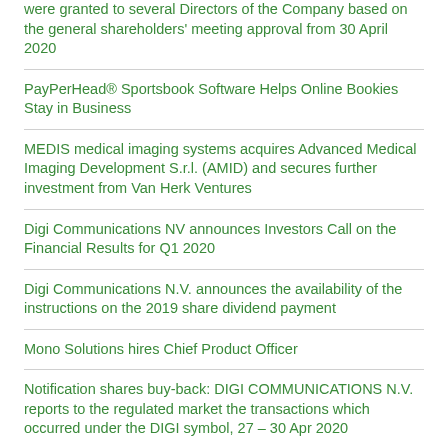were granted to several Directors of the Company based on the general shareholders' meeting approval from 30 April 2020
PayPerHead® Sportsbook Software Helps Online Bookies Stay in Business
MEDIS medical imaging systems acquires Advanced Medical Imaging Development S.r.l. (AMID) and secures further investment from Van Herk Ventures
Digi Communications NV announces Investors Call on the Financial Results for Q1 2020
Digi Communications N.V. announces the availability of the instructions on the 2019 share dividend payment
Mono Solutions hires Chief Product Officer
Notification shares buy-back: DIGI COMMUNICATIONS N.V. reports to the regulated market the transactions which occurred under the DIGI symbol, 27 – 30 Apr 2020